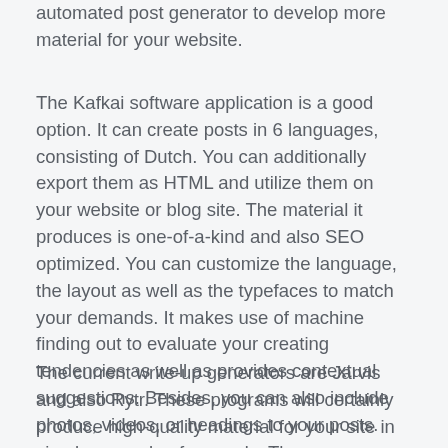automated post generator to develop more material for your website.
The Kafkai software application is a good option. It can create posts in 6 languages, consisting of Dutch. You can additionally export them as HTML and utilize them on your website or blog site. The material it produces is one-of-a-kind and also SEO optimized. You can customize the language, the layout as well as the typefaces to match your demands. It makes use of machine finding out to evaluate your creating tendencies as well as provides contextual suggestions. Besides, you can also include photos, videos, or headings to your posts.
The current write-up generators are Jarvis and also Rytr. These programs will certainly produce high-quality material for your site in simply a couple of seconds. These programs can generate articles utilizing keyword phrases or the